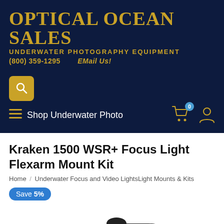[Figure (logo): Optical Ocean Sales logo — gold text on dark navy background. Company name 'OPTICAL OCEAN SALES' in large serif bold uppercase gold letters. Tagline 'UNDERWATER PHOTOGRAPHY EQUIPMENT' in smaller all-caps gold. Contact: '(800) 359-1295' and 'EMail Us!']
[Figure (screenshot): Navigation bar with search icon (gold on navy square), hamburger menu icon, 'Shop Underwater Photo' text in white, shopping cart icon with '0' badge, and user/account icon — all on dark navy background]
Kraken 1500 WSR+ Focus Light Flexarm Mount Kit
Home / Underwater Focus and Video LightsLight Mounts & Kits
Save 5%
[Figure (photo): Partial view of a Kraken 1500 WSR+ Focus Light mounted on a Flexarm, showing a black cylindrical light fixture attached to a black arm/mount, photographed on white background. A red scroll-to-top button (upward chevron) is visible in the bottom right corner.]